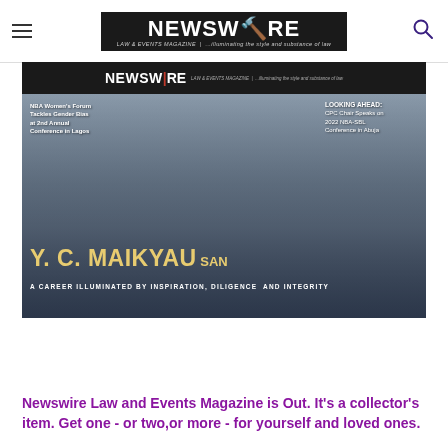NEWSWIRE LAW & EVENTS MAGAZINE | ...illuminating the style and substance of law
[Figure (photo): Magazine cover of Newswire Law and Events Magazine featuring Y.C. Maikyau SAN in a blue suit with a red tie. Cover text reads: 'NBA Women's Forum Tackles Gender Bias at 2nd Annual Conference in Lagos' on the left, 'LOOKING AHEAD: CPC Chair Speaks on 2022 NBA-SBL Conference in Abuja' on the right, and large text at the bottom: 'Y.C. MAIKYAU SAN' and 'A CAREER ILLUMINATED BY INSPIRATION, DILIGENCE AND INTEGRITY'.]
Newswire Law and Events Magazine is Out. It's a collector's item. Get one - or two,or more - for yourself and loved ones.